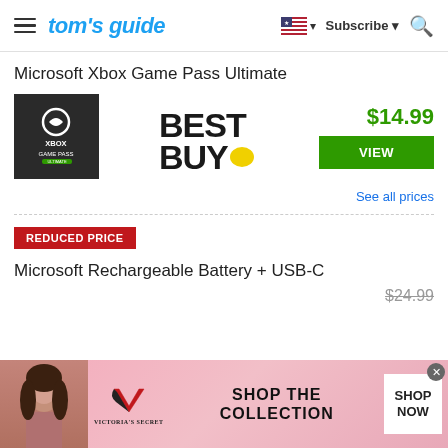tom's guide — Subscribe — Search
Microsoft Xbox Game Pass Ultimate
[Figure (photo): Xbox Game Pass Ultimate product box artwork on dark background]
[Figure (logo): Best Buy logo with yellow price tag icon]
$14.99
VIEW
See all prices
REDUCED PRICE
Microsoft Rechargeable Battery + USB-C
$24.99
[Figure (photo): Victoria's Secret advertisement banner with model, VS logo, SHOP THE COLLECTION text, and SHOP NOW button]